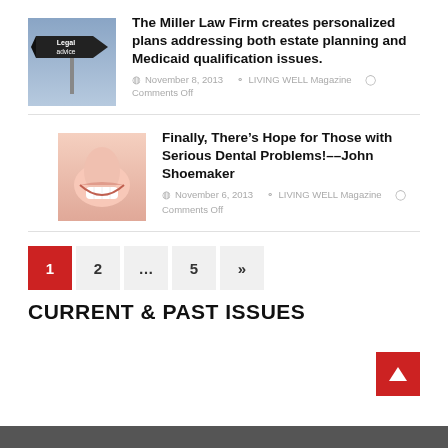[Figure (photo): Road sign reading 'Legal advice' against a cloudy sky]
The Miller Law Firm creates personalized plans addressing both estate planning and Medicaid qualification issues.
November 8, 2013  LIVING WELL Magazine  Comments Off
[Figure (photo): Close-up of a smiling woman showing teeth]
Finally, There’s Hope for Those with Serious Dental Problems!--John Shoemaker
November 6, 2013  LIVING WELL Magazine  Comments Off
1  2  ...  5  »
CURRENT & PAST ISSUES